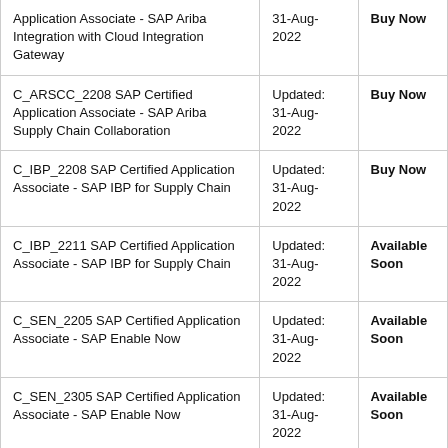| Application Associate - SAP Ariba Integration with Cloud Integration Gateway | 31-Aug-2022 | Buy Now |
| C_ARSCC_2208 SAP Certified Application Associate - SAP Ariba Supply Chain Collaboration | Updated: 31-Aug-2022 | Buy Now |
| C_IBP_2208 SAP Certified Application Associate - SAP IBP for Supply Chain | Updated: 31-Aug-2022 | Buy Now |
| C_IBP_2211 SAP Certified Application Associate - SAP IBP for Supply Chain | Updated: 31-Aug-2022 | Available Soon |
| C_SEN_2205 SAP Certified Application Associate - SAP Enable Now | Updated: 31-Aug-2022 | Available Soon |
| C_SEN_2305 SAP Certified Application Associate - SAP Enable Now | Updated: 31-Aug-2022 | Available Soon |